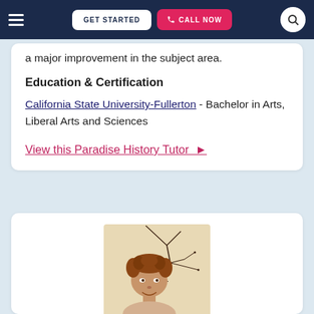GET STARTED | CALL NOW
a major improvement in the subject area.
Education & Certification
California State University-Fullerton - Bachelor in Arts, Liberal Arts and Sciences
View this Paradise History Tutor ►
[Figure (photo): Photo of a tutor with curly hair smiling in front of an abstract wire artwork on a light wall]